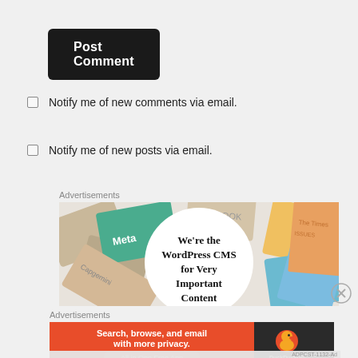Post Comment
Notify me of new comments via email.
Notify me of new posts via email.
Advertisements
[Figure (screenshot): WordPress CMS advertisement with colorful cards in background and white circle with text: We're the WordPress CMS for Very Important Content]
Advertisements
[Figure (screenshot): DuckDuckGo advertisement: Search, browse, and email with more privacy. All in One Free App. Orange left panel with DuckDuckGo logo on dark right panel.]